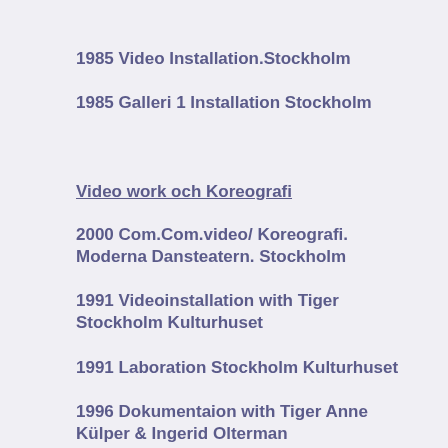1985 Video Installation.Stockholm
1985 Galleri 1 Installation Stockholm
Video work och Koreografi
2000 Com.Com.video/ Koreografi. Moderna Dansteatern. Stockholm
1991 Videoinstallation with Tiger Stockholm Kulturhuset
1991 Laboration Stockholm Kulturhuset
1996 Dokumentaion with Tiger Anne Külper & Ingerid Olterman